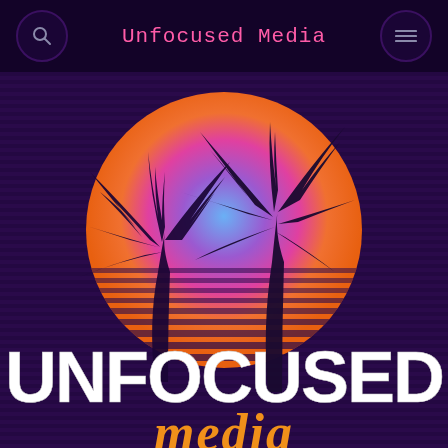Unfocused Media
[Figure (logo): Unfocused Media logo: retrowave/synthwave style with a large circle featuring a gradient from blue at top to magenta/pink in middle to orange at bottom with horizontal stripes, two palm tree silhouettes in dark purple in the foreground, over a dark purple striped background. Large bold white text 'UNFOCUSED' at bottom with orange/gold cursive 'media' script below it.]